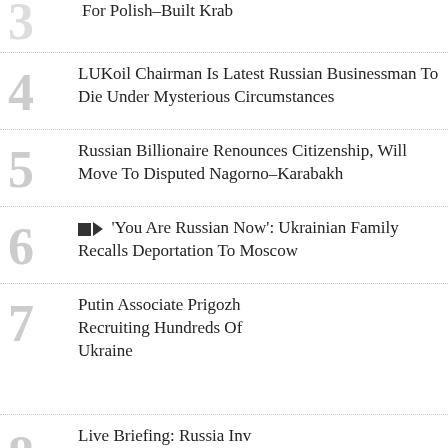For Polish-Built Krab
LUKoil Chairman Is Latest Russian Businessman To Die Under Mysterious Circumstances
Russian Billionaire Renounces Citizenship, Will Move To Disputed Nagorno-Karabakh
'You Are Russian Now': Ukrainian Family Recalls Deportation To Moscow
Putin Associate Prigozhin Recruiting Hundreds Of ... Ukraine
Live Briefing: Russia Inv...
'It's N... The M... On Ukr... Russia... Target... Educat...